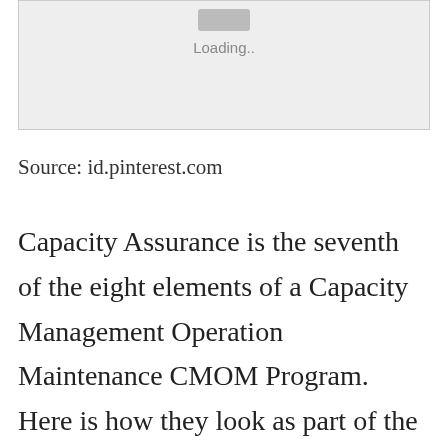[Figure (other): Loading placeholder image box with a grey background, a small grey button-like icon at top and 'Loading..' text below it]
Source: id.pinterest.com
Capacity Assurance is the seventh of the eight elements of a Capacity Management Operation Maintenance CMOM Program. Here is how they look as part of the P-F curve. From claims services to sales to product marketing and beyond knowledge workers have an increasing amount of